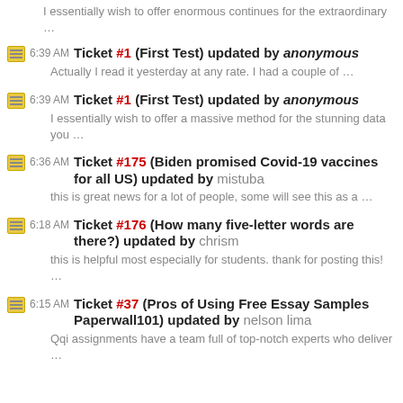I essentially wish to offer enormous continues for the extraordinary …
6:39 AM Ticket #1 (First Test) updated by anonymous — Actually I read it yesterday at any rate. I had a couple of …
6:39 AM Ticket #1 (First Test) updated by anonymous — I essentially wish to offer a massive method for the stunning data you …
6:36 AM Ticket #175 (Biden promised Covid-19 vaccines for all US) updated by mistuba — this is great news for a lot of people, some will see this as a …
6:18 AM Ticket #176 (How many five-letter words are there?) updated by chrism — this is helpful most especially for students. thank for posting this! …
6:15 AM Ticket #37 (Pros of Using Free Essay Samples Paperwall101) updated by nelson lima — Qqi assignments have a team full of top-notch experts who deliver …